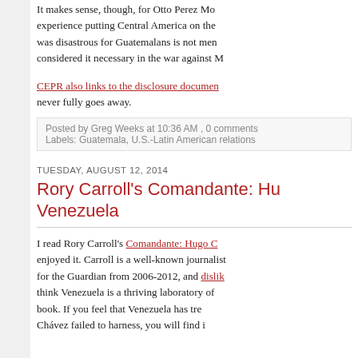It makes sense, though, for Otto Perez Mo... experience putting Central America on the... was disastrous for Guatemalans is not men... considered it necessary in the war against M...
CEPR also links to the disclosure documen... never fully goes away.
Posted by Greg Weeks at 10:36 AM , 0 comments Labels: Guatemala, U.S.-Latin American relations
TUESDAY, AUGUST 12, 2014
Rory Carroll's Comandante: Hugo Ch... Venezuela
I read Rory Carroll's Comandante: Hugo C... enjoyed it. Carroll is a well-known journalist for the Guardian from 2006-2012, and dislik... think Venezuela is a thriving laboratory of... book. If you feel that Venezuela has tre... Chávez failed to harness, you will find i...